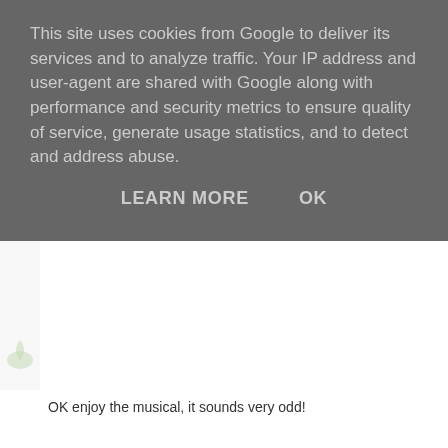This site uses cookies from Google to deliver its services and to analyze traffic. Your IP address and user-agent are shared with Google along with performance and security metrics to ensure quality of service, generate usage statistics, and to detect and address abuse.
LEARN MORE    OK
OK enjoy the musical, it sounds very odd!
I thought the ending of Utage was pretty brave and I'... very last scene. Do you think you could possibly tr... though and I totally understand if you say no!
Raindrops and Daydreams   Thursday, 19 Septembe...
I'll try to take a look this weekend if I have time for th... Hisahide and Nobunaga alone?
jo   Friday, 20 September 2013 at 14:30:00 BST
Whoa that's really nice of you to consider! Yes that's...